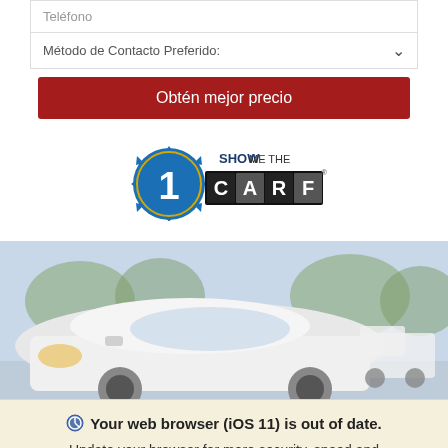Teléfono
Método de Contacto Preferido:
Obtén mejor precio
[Figure (logo): Show Me The Carfax logo badge with gear icon and number 1]
[Figure (photo): White car (hatchback/compact) photographed outdoors in a parking lot with trees and another white truck visible in background]
Your web browser (iOS 11) is out of date. Update your browser for more security, speed and the best experience on this site.
Update browser
Ignore